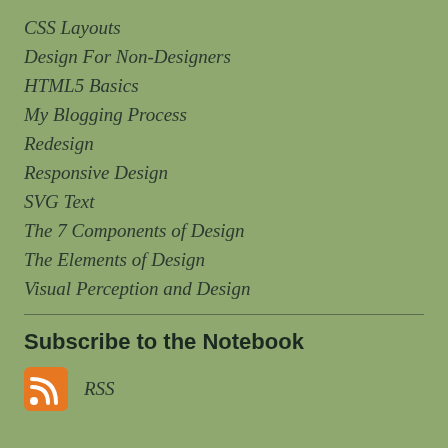CSS Layouts
Design For Non-Designers
HTML5 Basics
My Blogging Process
Redesign
Responsive Design
SVG Text
The 7 Components of Design
The Elements of Design
Visual Perception and Design
Subscribe to the Notebook
RSS